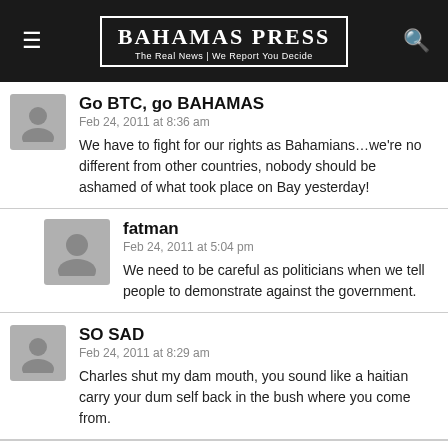BAHAMAS PRESS — The Real News | We Report You Decide
Go BTC, go BAHAMAS
Feb 24, 2011 at 8:36 am
We have to fight for our rights as Bahamians…we're no different from other countries, nobody should be ashamed of what took place on Bay yesterday!
fatman
Feb 24, 2011 at 5:04 pm
We need to be careful as politicians when we tell people to demonstrate against the government.
SO SAD
Feb 24, 2011 at 8:29 am
Charles shut my dam mouth, you sound like a haitian carry your dum self back in the bush where you come from.